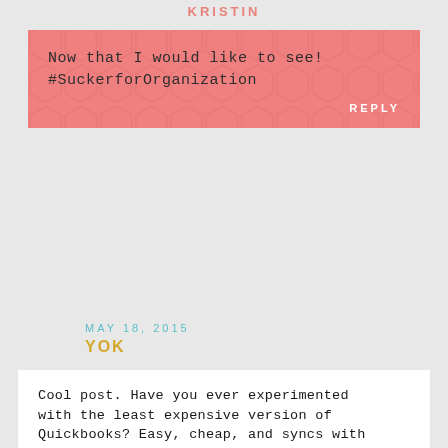KRISTIN
Now that I would like to see! #SuckerforOrganization
REPLY
MAY 18, 2015
YOK
Cool post. Have you ever experimented with the least expensive version of Quickbooks? Easy, cheap, and syncs with banking making invoice and finance management unexpectedly straightfoward. 🙂
REPLY